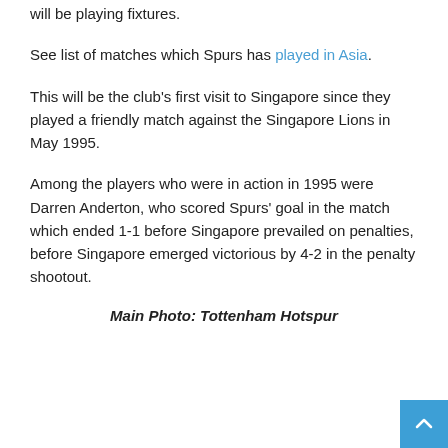will be playing fixtures.
See list of matches which Spurs has played in Asia.
This will be the club's first visit to Singapore since they played a friendly match against the Singapore Lions in May 1995.
Among the players who were in action in 1995 were Darren Anderton, who scored Spurs' goal in the match which ended 1-1 before Singapore prevailed on penalties, before Singapore emerged victorious by 4-2 in the penalty shootout.
Main Photo: Tottenham Hotspur